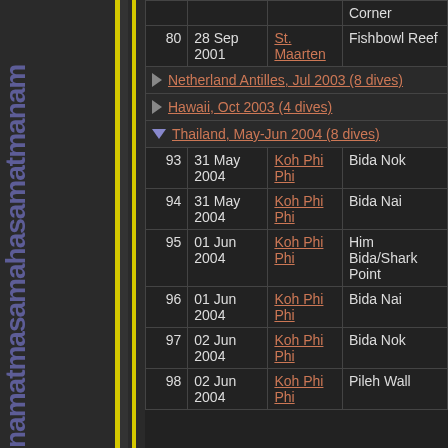| # | Date | Location | Site |
| --- | --- | --- | --- |
|  |  |  | Corner |
| 80 | 28 Sep 2001 | St. Maarten | Fishbowl Reef |
|  | Netherland Antilles, Jul 2003 (8 dives) |  |  |
|  | Hawaii, Oct 2003 (4 dives) |  |  |
|  | Thailand, May-Jun 2004 (8 dives) |  |  |
| 93 | 31 May 2004 | Koh Phi Phi | Bida Nok |
| 94 | 31 May 2004 | Koh Phi Phi | Bida Nai |
| 95 | 01 Jun 2004 | Koh Phi Phi | Him Bida/Shark Point |
| 96 | 01 Jun 2004 | Koh Phi Phi | Bida Nai |
| 97 | 02 Jun 2004 | Koh Phi Phi | Bida Nok |
| 98 | 02 Jun 2004 | Koh Phi Phi | Pileh Wall |